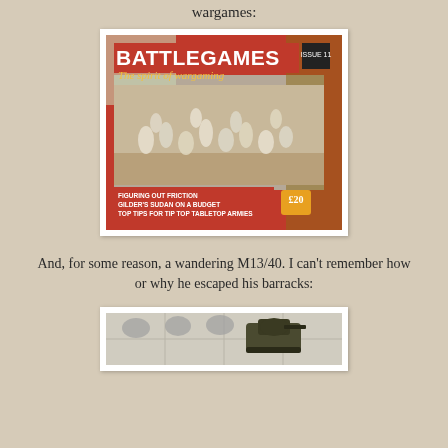wargames:
[Figure (photo): A photograph of 'Battlegames' magazine issue 11, subtitle 'The spirit of wargaming', showing miniature wargaming figures on a battlefield diorama on the cover. Cover text includes: FIGURING OUT FRICTION, GILDER'S SUDAN ON A BUDGET, TOP TIPS FOR TIP TOP TABLETOP ARMIES]
And, for some reason, a wandering M13/40. I can't remember how or why he escaped his barracks:
[Figure (photo): Partial photo at bottom of page showing what appears to be a miniature tank model on a light-colored floor surface]